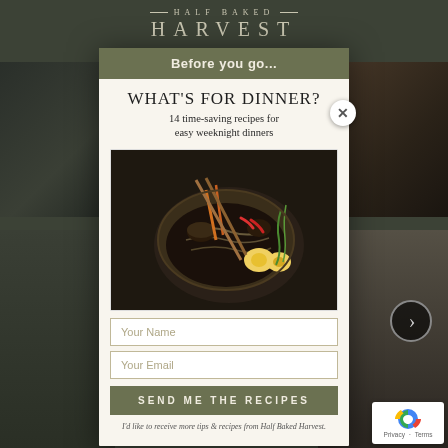HALF BAKED HARVEST
[Figure (screenshot): Website background showing Half Baked Harvest food photography in dark/moody tones]
Before you go...
WHAT'S FOR DINNER?
14 time-saving recipes for easy weeknight dinners
[Figure (photo): A bowl of Asian noodle soup/ramen with mushrooms, soft-boiled eggs, carrots, chilies, and green onions with chopsticks]
Your Name
Your Email
SEND ME THE RECIPES
I'd like to receive more tips & recipes from Half Baked Harvest.